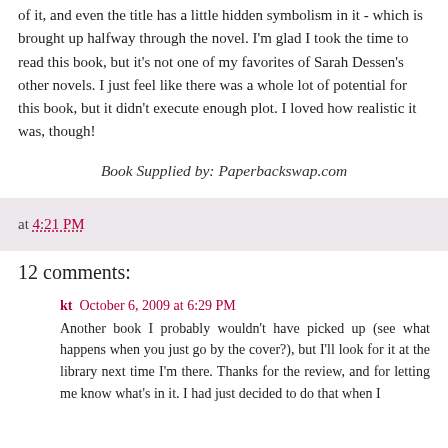of it, and even the title has a little hidden symbolism in it - which is brought up halfway through the novel. I'm glad I took the time to read this book, but it's not one of my favorites of Sarah Dessen's other novels. I just feel like there was a whole lot of potential for this book, but it didn't execute enough plot. I loved how realistic it was, though!
Book Supplied by: Paperbackswap.com
at 4:21 PM
12 comments:
kt  October 6, 2009 at 6:29 PM
Another book I probably wouldn't have picked up (see what happens when you just go by the cover?), but I'll look for it at the library next time I'm there. Thanks for the review, and for letting me know what's in it. I had just decided to do that when I